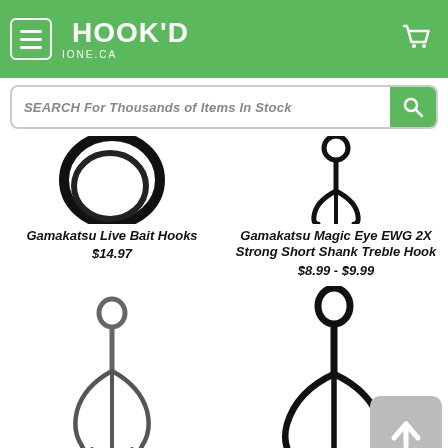[Figure (screenshot): Hook'd fishing store website header with green background, hamburger menu button, Hook'd logo, and shopping cart icon]
SEARCH For Thousands of Items In Stock
[Figure (photo): Gamakatsu Live Bait Hooks product image showing a circular hook]
Gamakatsu Live Bait Hooks $14.97
[Figure (photo): Gamakatsu Magic Eye EWG 2X Strong Short Shank Treble Hook product image]
Gamakatsu Magic Eye EWG 2X Strong Short Shank Treble Hook $8.99 - $9.99
[Figure (photo): Small treble fishing hook product image]
[Figure (photo): Large treble fishing hook product image]